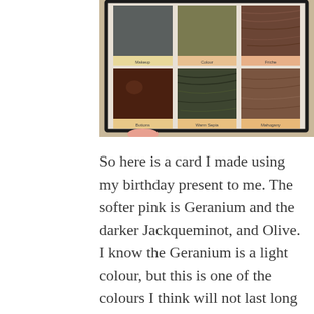[Figure (photo): A photo of a color swatch book/binder open to a page showing 6 material or paint color swatches arranged in 2 rows of 3. Top row swatches appear to be dark grey/slate, olive/khaki, and a textured brown/wood grain. Bottom row shows dark brown, dark green wood grain, and a lighter brown/mahogany. Each swatch has a label strip below it with color names including Makeup, Colour, Friche (top row) and Buttons, Warm Sepia, Mahogany (bottom row). A finger is visible holding the open binder from below.]
So here is a card I made using my birthday present to me.  The softer pink is Geranium and the darker Jackqueminot, and Olive.  I know the Geranium is a light colour, but this is one of the colours I think will not last long as there just doesn't seem to be the same intensity as most of the other